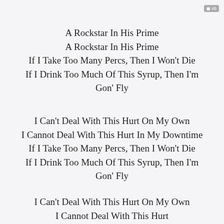46
A Rockstar In His Prime
A Rockstar In His Prime
If I Take Too Many Percs, Then I Won't Die
If I Drink Too Much Of This Syrup, Then I'm Gon' Fly
I Can't Deal With This Hurt On My Own
I Cannot Deal With This Hurt In My Downtime
If I Take Too Many Percs, Then I Won't Die
If I Drink Too Much Of This Syrup, Then I'm Gon' Fly
I Can't Deal With This Hurt On My Own
I Cannot Deal With This Hurt